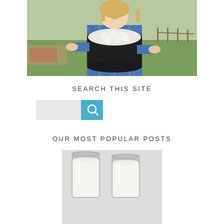[Figure (photo): Woman in blue plaid shirt holding a large dark bushel basket full of garlic, standing outdoors in a green field setting with a picnic table in background]
SEARCH THIS SITE
[Figure (screenshot): Search bar widget with light gray input field and blue search button with magnifying glass icon]
OUR MOST POPULAR POSTS
[Figure (photo): Mason jars with white contents (possibly yogurt or cream), partially visible at bottom of page]